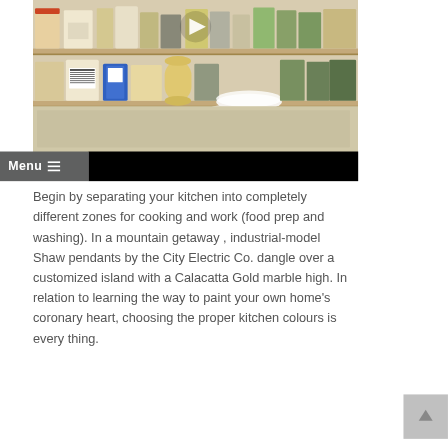[Figure (photo): Photo of a pantry/kitchen cabinet with shelves full of jars, cans, and food items. A video play button (triangle) is overlaid on the image. Below the photo is a black bar and a gray 'Menu ≡' navigation button.]
Begin by separating your kitchen into completely different zones for cooking and work (food prep and washing). In a mountain getaway , industrial-model Shaw pendants by the City Electric Co. dangle over a customized island with a Calacatta Gold marble high. In relation to learning the way to paint your own home's coronary heart, choosing the proper kitchen colours is every thing.